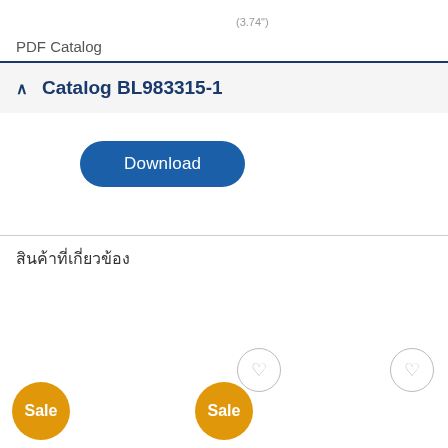(3.74")
PDF Catalog
∧  Catalog BL983315-1
[Figure (other): Download button - rounded rectangle blue button with white text 'Download']
สินค้าที่เกี่ยวข้อง
[Figure (other): Product grid row showing Sale badges (orange circles) and heart/wishlist buttons (gray circle outlines)]